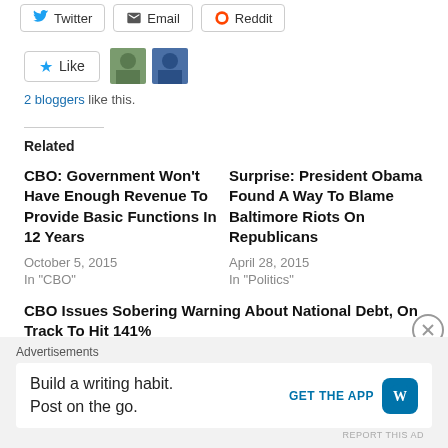[Figure (screenshot): Social share buttons: Twitter, Email, Reddit]
[Figure (screenshot): Like button with star icon, two blogger avatars, and '2 bloggers like this.' text]
2 bloggers like this.
Related
CBO: Government Won't Have Enough Revenue To Provide Basic Functions In 12 Years
October 5, 2015
In "CBO"
Surprise: President Obama Found A Way To Blame Baltimore Riots On Republicans
April 28, 2015
In "Politics"
CBO Issues Sobering Warning About National Debt, On Track To Hit 141%
Advertisements
Build a writing habit.
Post on the go.
GET THE APP